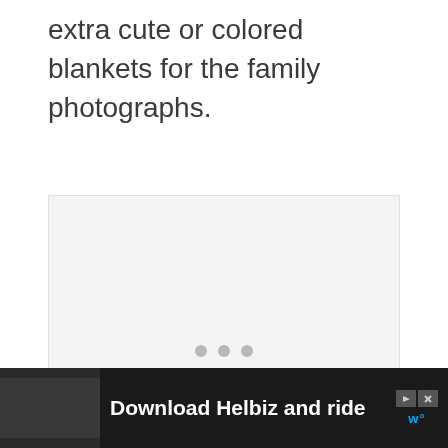extra cute or colored blankets for the family photographs.
[Figure (other): Image placeholder/carousel with three navigation dots, light gray background]
[Figure (other): Advertisement banner at bottom: dark background with photo of person on scooter, text 'Download Helbiz and ride', with play/close buttons and logo]